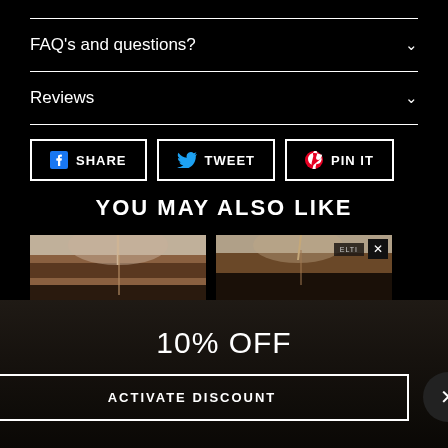FAQ's and questions?
Reviews
[Figure (screenshot): Social share buttons: Share (Facebook), Tweet (Twitter), Pin It (Pinterest)]
[Figure (infographic): Gift/reward widget icon showing a gift box in blue/purple]
YOU MAY ALSO LIKE
[Figure (photo): Product photo showing top of head with dark hair, hairline visible]
[Figure (photo): Product photo showing top of head with dark hair, brand label visible]
10% OFF
ACTIVATE DISCOUNT